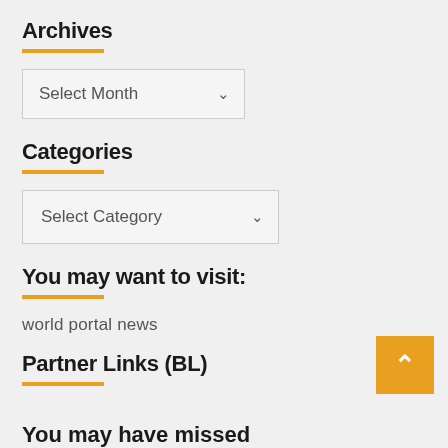Archives
[Figure (other): Select Month dropdown widget]
Categories
[Figure (other): Select Category dropdown widget]
You may want to visit:
world portal news
Partner Links (BL)
You may have missed